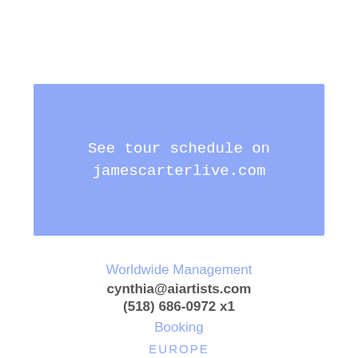[Figure (other): A blue/periwinkle rectangle containing white text: 'See tour schedule on jamescarterlive.com']
Worldwide Management
cynthia@aiartists.com
(518) 686-0972 x1
Booking
EUROPE